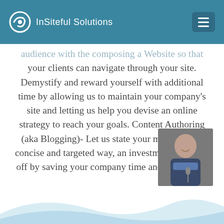InSiteful Solutions
audience with the composing a Website so that your clients can navigate through your site. Demystify and reward yourself with additional time by allowing us to maintain your company's site and letting us help you devise an online strategy to reach your goals. Content Authoring (aka Blogging)- Let us state your message in a concise and targeted way, an investment that pays off by saving your company time and frustration.
[Figure (photo): A person holding a microphone, smiling, photographed at an event]